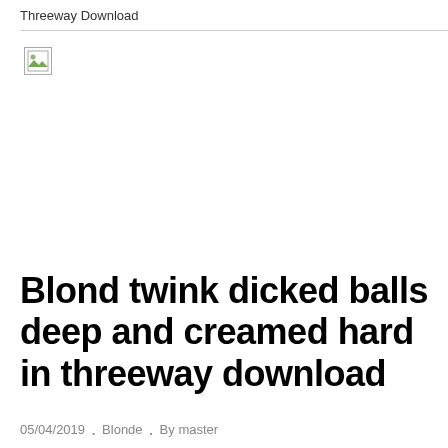Threeway Download
[Figure (other): Broken/missing image placeholder with small icon]
Blond twink dicked balls deep and creamed hard in threeway download
05/04/2019  .  Blonde  .  By master